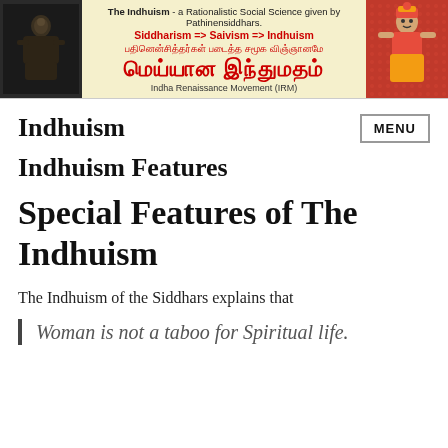[Figure (illustration): Banner header with two deity/statue images on left and right, yellow/cream center with text about Indhuism, Siddharism, Saivism, Tamil script, and Indha Renaissance Movement (IRM)]
Indhuism
Indhuism Features
Special Features of The Indhuism
The Indhuism of the Siddhars explains that
Woman is not a taboo for Spiritual life.